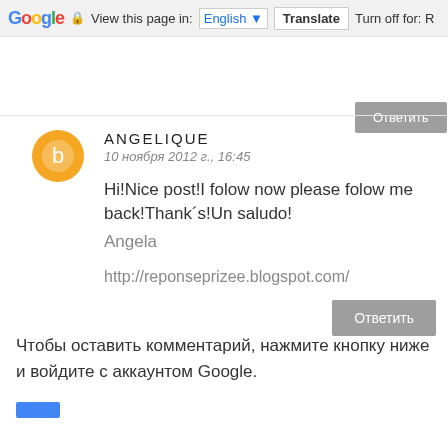Google  View this page in: English  Translate  Turn off for: R
Ответить
ANGELIQUE
10 ноября 2012 г., 16:45
Hi!Nice post!I folow now please folow me back!Thank´s!Un saludo!
Angela

http://reponseprizee.blogspot.com/
Ответить
Чтобы оставить комментарий, нажмите кнопку ниже и войдите с аккаунтом Google.